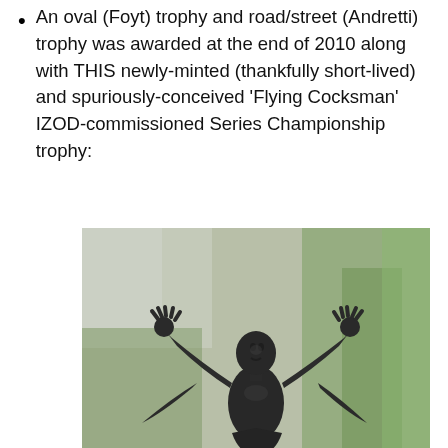An oval (Foyt) trophy and road/street (Andretti) trophy was awarded at the end of 2010 along with THIS newly-minted (thankfully short-lived) and spuriously-conceived ‘Flying Cocksman’ IZOD-commissioned Series Championship trophy:
[Figure (photo): A dark bronze-colored trophy statue of a human figure with arms raised wide, fingers spread, looking upward, with wings or cape-like forms behind, photographed against a blurred green and building background.]